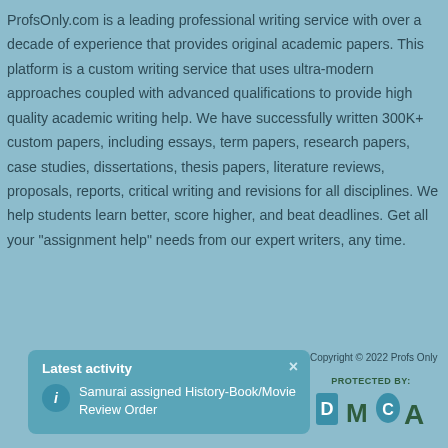ProfsOnly.com is a leading professional writing service with over a decade of experience that provides original academic papers. This platform is a custom writing service that uses ultra-modern approaches coupled with advanced qualifications to provide high quality academic writing help. We have successfully written 300K+ custom papers, including essays, term papers, research papers, case studies, dissertations, thesis papers, literature reviews, proposals, reports, critical writing and revisions for all disciplines. We help students learn better, score higher, and beat deadlines. Get all your "assignment help" needs from our expert writers, any time.
[Figure (screenshot): Latest activity notification box: 'Samurai assigned History-Book/Movie Review Order']
Copyright © 2022 Profs Only
[Figure (logo): DMCA Protected By badge/logo]